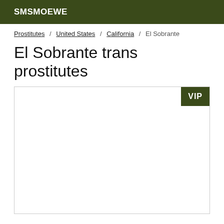SMSMOEWE
Prostitutes / United States / California / El Sobrante
El Sobrante trans prostitutes
[Figure (other): A listing card placeholder with a VIP badge in the top-right corner]